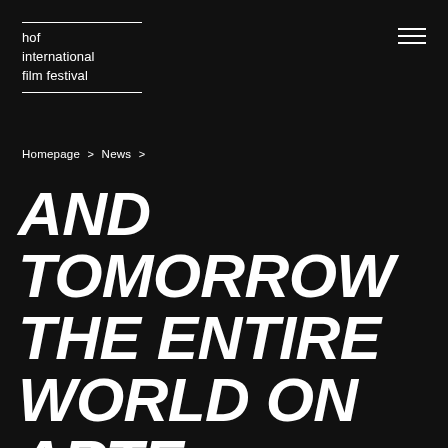hof international film festival
Homepage > News >
AND TOMORROW THE ENTIRE WORLD ON ARTE